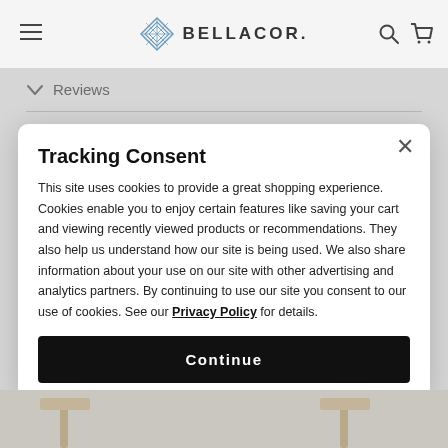BELLACOR.
Reviews
Q & A
Tracking Consent
This site uses cookies to provide a great shopping experience. Cookies enable you to enjoy certain features like saving your cart and viewing recently viewed products or recommendations. They also help us understand how our site is being used. We also share information about your use on our site with other advertising and analytics partners. By continuing to use our site you consent to our use of cookies. See our Privacy Policy for details.
Continue